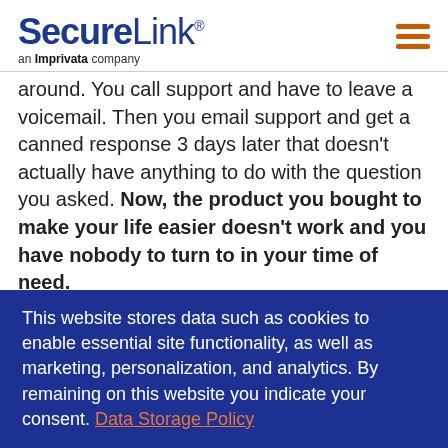SecureLink® an Imprivata company
around. You call support and have to leave a voicemail. Then you email support and get a canned response 3 days later that doesn't actually have anything to do with the question you asked. Now, the product you bought to make your life easier doesn't work and you have nobody to turn to in your time of need.
Enter your Customer Success Manager or CSM.
This website stores data such as cookies to enable essential site functionality, as well as marketing, personalization, and analytics. By remaining on this website you indicate your consent. Data Storage Policy